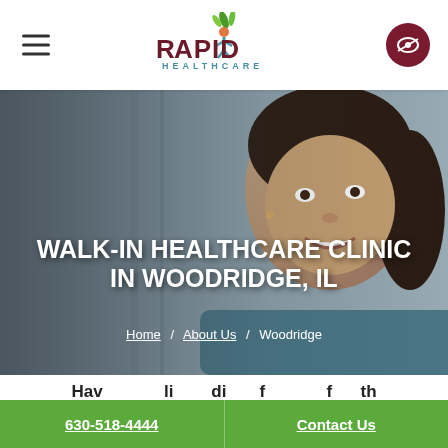[Figure (logo): Rapid Healthcare logo with stylized figure and leaf design, text RAPID HEALTHCARE]
[Figure (photo): Smiling woman in professional attire, hero background image for walk-in healthcare clinic page]
WALK-IN HEALTHCARE CLINIC IN WOODRIDGE, IL
Home / About Us / Woodridge
630-518-4444
Contact Us